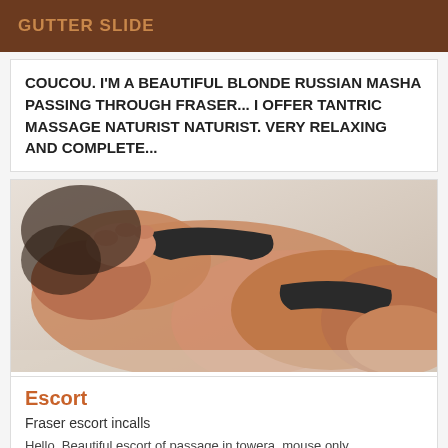GUTTER SLIDE
COUCOU. I'M A BEAUTIFUL BLONDE RUSSIAN MASHA PASSING THROUGH FRASER... I OFFER TANTRIC MASSAGE NATURIST NATURIST. VERY RELAXING AND COMPLETE...
[Figure (photo): Photo of a woman lying on a bed in black underwear, close-up intimate pose]
Escort
Fraser escort incalls
Hello. Beautiful escort of passage in towera, mouse only